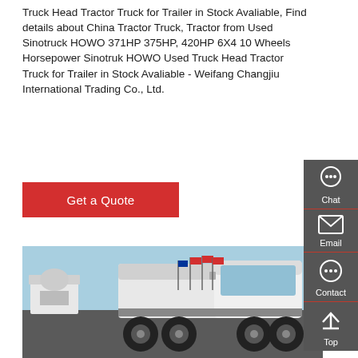Truck Head Tractor Truck for Trailer in Stock Avaliable, Find details about China Tractor Truck, Tractor from Used Sinotruck HOWO 371HP 375HP, 420HP 6X4 10 Wheels Horsepower Sinotruk HOWO Used Truck Head Tractor Truck for Trailer in Stock Avaliable - Weifang Changjiu International Trading Co., Ltd.
Get a Quote
[Figure (photo): A white Sinotruk HOWO tractor truck (semi-truck cab) parked in a lot with multiple other trucks and red flags visible in the background, under a blue sky.]
Chat
Email
Contact
Top